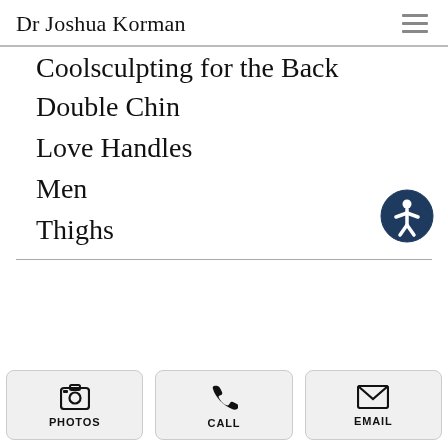Dr Joshua Korman
Coolsculpting for the Back
Double Chin
Love Handles
Men
Thighs
PHOTOS | CALL | EMAIL